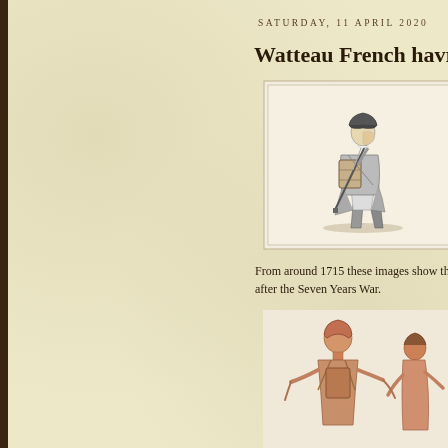SATURDAY, 11 APRIL 2020
Watteau French havresac
[Figure (illustration): Black and white engraving of a French soldier from around 1715, shown in profile walking, carrying a musket over his shoulder and wearing a havresac (backpack). The figure wears a tricorn hat, knee breeches, and boots, depicted in a detailed etching style within a rectangular border.]
From around 1715 these images show the after the Seven Years War.
[Figure (illustration): Reddish-brown chalk or ink sketch showing two French soldiers, one in the foreground seen from behind wearing a headscarf and carrying equipment, and another figure partially visible to the right. The sketch has a warm reddish tone characteristic of sanguine drawings.]